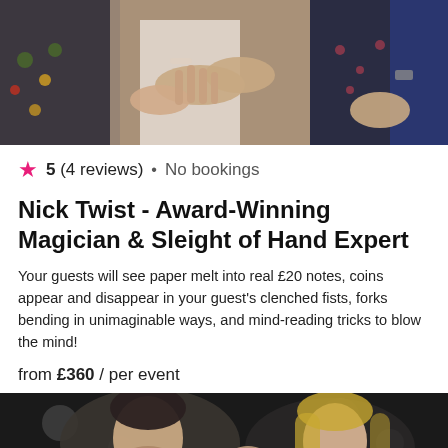[Figure (photo): Party event photo showing people's hands doing close-up magic tricks, multiple guests wearing colorful outfits]
5 (4 reviews) • No bookings
Nick Twist - Award-Winning Magician & Sleight of Hand Expert
Your guests will see paper melt into real £20 notes, coins appear and disappear in your guest's clenched fists, forks bending in unimaginable ways, and mind-reading tricks to blow the mind!
from £360 / per event
[Figure (photo): Two people at an event, a man and woman, with bokeh lights in the background, possibly watching a magic performance]